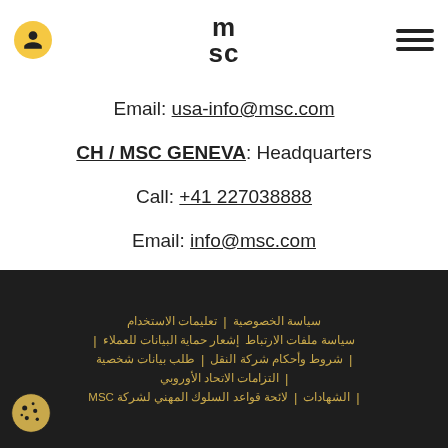MSC logo header with user icon and menu icon
Email: usa-info@msc.com
CH / MSC GENEVA: Headquarters
Call: +41 227038888
Email: info@msc.com
تعليمات الاستخدام | سياسة الخصوصية | سياسة ملفات الارتباط إشعار حماية البيانات للعملاء | طلب بيانات شخصية | شروط وأحكام شركة النقل | التزامات الاتحاد الأوروبي | لائحة قواعد السلوك المهني لشركة MSC | الشهادات |